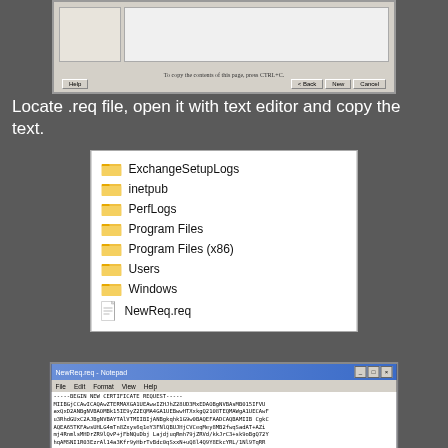[Figure (screenshot): Windows dialog box showing certificate request completion with Help, Back, New, and Cancel buttons. Text says 'To copy the contents of this page, press CTRL+C.']
Locate .req file, open it with text editor and copy the text.
[Figure (screenshot): Windows Explorer file listing showing folders: ExchangeSetupLogs, inetpub, PerfLogs, Program Files, Program Files (x86), Users, Windows, and a file NewReq.req]
[Figure (screenshot): Notepad window titled 'NewReq.req - Notepad' showing contents of a certificate request file starting with -----BEGIN NEW CERTIFICATE REQUEST-----]